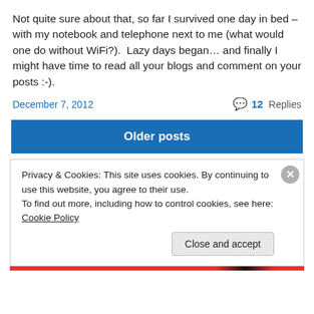Not quite sure about that, so far I survived one day in bed – with my notebook and telephone next to me (what would one do without WiFi?).  Lazy days began… and finally I might have time to read all your blogs and comment on your posts :-).
December 7, 2012   💬 12 Replies
Older posts
Privacy & Cookies: This site uses cookies. By continuing to use this website, you agree to their use.
To find out more, including how to control cookies, see here: Cookie Policy
Close and accept